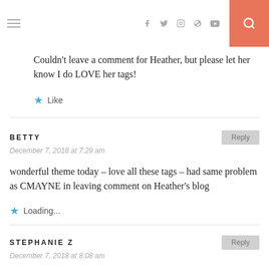Navigation header with hamburger menu, social icons (Facebook, Twitter, Instagram, Pinterest, YouTube), and search button
Couldn't leave a comment for Heather, but please let her know I do LOVE her tags!
★ Like
BETTY
December 7, 2018 at 7:29 am
wonderful theme today – love all these tags – had same problem as CMAYNE in leaving comment on Heather's blog
★ Loading...
STEPHANIE Z
December 7, 2018 at 8:08 am